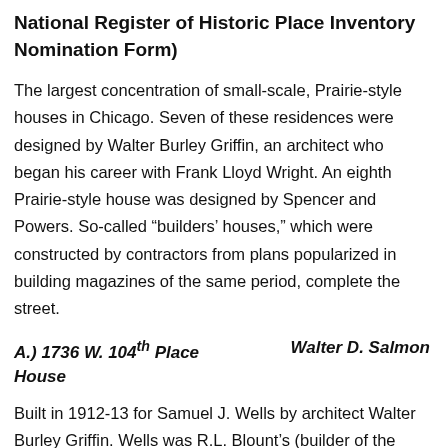National Register of Historic Place Inventory Nomination Form)
The largest concentration of small-scale, Prairie-style houses in Chicago. Seven of these residences were designed by Walter Burley Griffin, an architect who began his career with Frank Lloyd Wright. An eighth Prairie-style house was designed by Spencer and Powers. So-called “builders’ houses,” which were constructed by contractors from plans popularized in building magazines of the same period, complete the street.
A.) 1736 W. 104th Place     Walter D. Salmon House
Built in 1912-13 for Samuel J. Wells by architect Walter Burley Griffin. Wells was R.L. Blount’s (builder of the